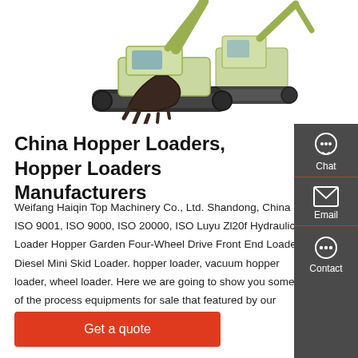[Figure (photo): Two construction excavators/hopper loaders on white background — one showing the bucket/arm in foreground, one showing the full machine with cab in background]
China Hopper Loaders, Hopper Loaders Manufacturers
Weifang Haiqin Top Machinery Co., Ltd. Shandong, China ISO 9001, ISO 9000, ISO 20000, ISO Luyu Zl20f Hydraulic Loader Hopper Garden Four-Wheel Drive Front End Loader Diesel Mini Skid Loader. hopper loader, vacuum hopper loader, wheel loader. Here we are going to show you some of the process equipments for sale that featured by our
[Figure (infographic): Sidebar with Chat, Email, and Contact icons on dark grey background]
Get a quote